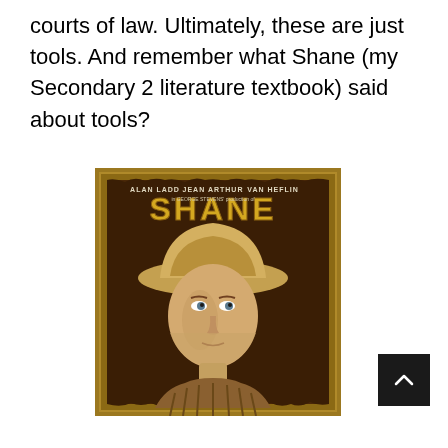courts of law. Ultimately, these are just tools. And remember what Shane (my Secondary 2 literature textbook) said about tools?
[Figure (photo): Movie poster for 'Shane' (1953 western film) featuring Alan Ladd, Jean Arthur, Van Heflin. Shows the title 'SHANE' in large gold western-style lettering at the top, with a close-up portrait of a man wearing a cowboy hat below. Warm brown and gold tones. The poster has a wooden frame/border appearance.]